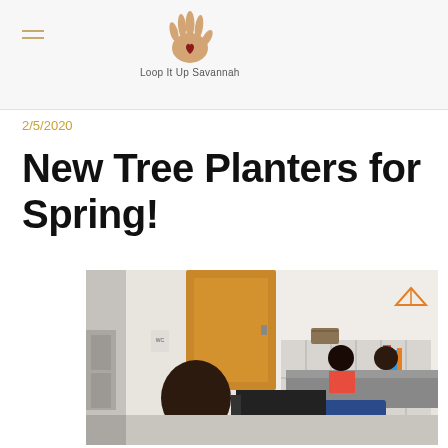Loop It Up Savannah
2/5/2020
New Tree Planters for Spring!
[Figure (photo): Students sitting at desks in a classroom, with cubby shelves in the background. A student in a teal shirt is in the foreground, and two other students in red and white shirts are visible at a table behind.]